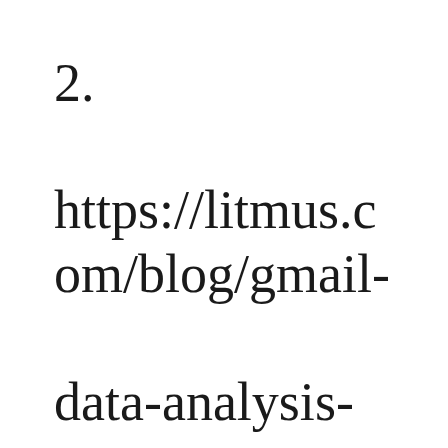2. https://litmus.com/blog/gmail-data-analysis-reveals-image-blocking-